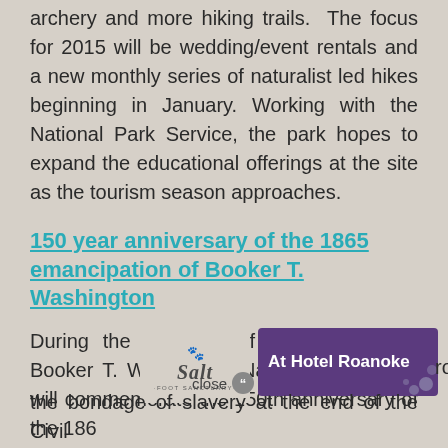archery and more hiking trails.  The focus for 2015 will be wedding/event rentals and a new monthly series of naturalist led hikes beginning in January. Working with the National Park Service, the park hopes to expand the educational offerings at the site as the tourism season approaches.
150 year anniversary of the 1865 emancipation of Booker T. Washington
During the weekend of June 20, 2015, Booker T. Washington National Monument will commemorate the 150th anniversary of the 186 and the bondage of slavery at the end of the Civil
[Figure (advertisement): Advertisement overlay showing 'At Hotel Roanoke' in white text on purple background with decorative dots, and a Salt Foot Sanctuary logo]